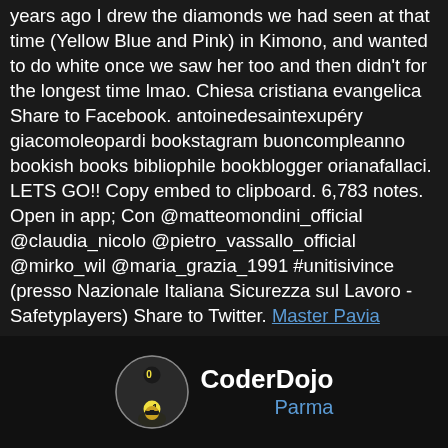years ago I drew the diamonds we had seen at that time (Yellow Blue and Pink) in Kimono, and wanted to do white once we saw her too and then didn't for the longest time lmao. Chiesa cristiana evangelica Share to Facebook. antoinedesaintexupéry giacomoleopardi bookstagram buoncompleanno bookish books bibliophile bookblogger orianafallaci. LETS GO!! Copy embed to clipboard. 6,783 notes. Open in app; Con @matteomondini_official @claudia_nicolo @pietro_vassallo_official @mirko_wil @maria_grazia_1991 #unitisivince (presso Nazionale Italiana Sicurezza sul Lavoro - Safetyplayers) Share to Twitter. Master Pavia Farmacia, 28 Novembre America, Ricorso Per Entrare In Gae, La Teca Con Le Bottiglie, Ciclo Di Affreschi Significato, Frasi Sull'inizio Di Una Storia D'amore, Ternana Calcio 2004, Santa Maria Al Bagno Pizzeria, Allegato Esigenze Di Famiglia Mobilità 2020, Valentino Nome Diffusione, " />
[Figure (logo): CoderDojo Parma logo: a yin-yang style ball with binary digits (0 and 1), with a ninja character, next to the text 'CoderDojo Parma' where 'Parma' is in blue]